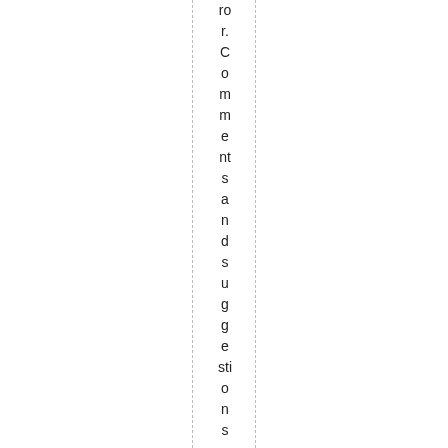ror. Comments and suggestions are always appr